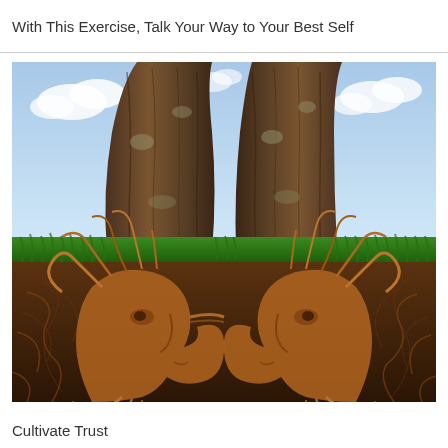With This Exercise, Talk Your Way to Your Best Self
[Figure (illustration): Concept illustration showing two large tree trunks above ground with sky and grass, and below ground the roots form the silhouettes of two human faces facing each other, symbolizing connection and trust through roots and conversation.]
Cultivate Trust